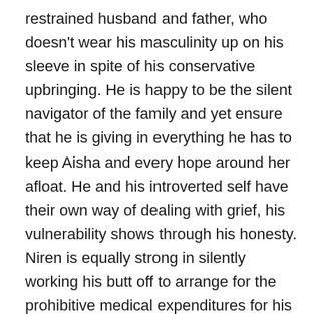restrained husband and father, who doesn't wear his masculinity up on his sleeve in spite of his conservative upbringing. He is happy to be the silent navigator of the family and yet ensure that he is giving in everything he has to keep Aisha and every hope around her afloat. He and his introverted self have their own way of dealing with grief, his vulnerability shows through his honesty. Niren is equally strong in silently working his butt off to arrange for the prohibitive medical expenditures for his child and let Aditi be the primary caregiver, as he is earnest sans any ego about not thinking twice to ask for charitable help towards the same cause. His easygoing charm works as much wonder on Aditi and Aisha, as it does its magic on us. Farhan Akhtar is the clear show stealer as Niren with a brilliantly sensitive restrained act, he speaks a whole lot through his poised eyes tugging deep at the heart strings,